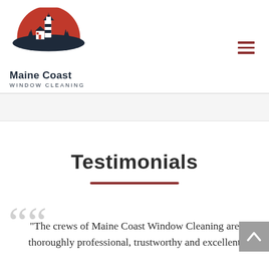[Figure (logo): Maine Coast Window Cleaning logo: lighthouse and house silhouette on red semicircle background with dark coastline]
Maine Coast Window Cleaning — navigation header with hamburger menu icon
Testimonials
"The crews of Maine Coast Window Cleaning are thoroughly professional, trustworthy and excellent